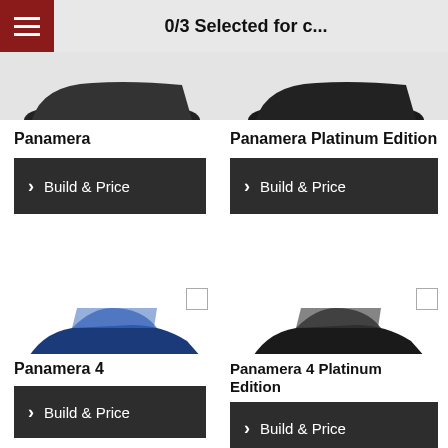0/3 Selected for c...
Panamera
Build & Price
Panamera Platinum Edition
Build & Price
[Figure (photo): Blue Porsche Panamera sedan, side profile view]
[Figure (photo): Dark/black Porsche Panamera sedan, side profile view]
Panamera 4
Build & Price
Panamera 4 Platinum Edition
Build & Price